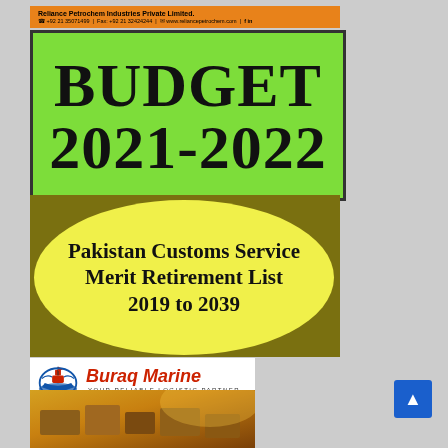Reliance Petrochem Industries Private Limited. | Fax: +92 21 32424244 | www.reliancepetrochem.com
BUDGET 2021-2022
Pakistan Customs Service Merit Retirement List 2019 to 2039
[Figure (logo): Buraq Marine - Your Reliable Logistic Partner logo with ship icon]
[Figure (photo): Photo of cargo/logistic goods at bottom]